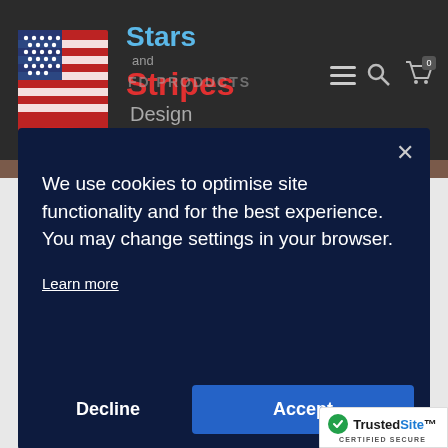[Figure (logo): Stars and Stripes Design logo with American flag graphic on dark background navigation bar. Navigation includes PRODUCTS text, hamburger menu, search icon, and cart icon with 0 badge.]
We use cookies to optimise site functionality and for the best experience. You may change settings in your browser.
Learn more
Decline
Accept
[Figure (logo): TrustedSite Certified Secure badge in bottom right corner]